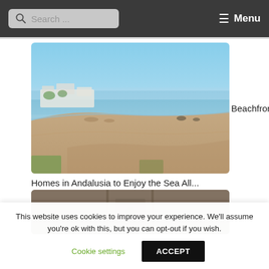Search ... Menu
[Figure (photo): Coastal beach scene in Andalusia, Spain. Sandy beach curving around a bay with white buildings on a hillside in the background under a clear blue sky.]
Beachfront
Homes in Andalusia to Enjoy the Sea All...
[Figure (photo): Interior photo, partially visible, showing wooden furniture or panels in a dark/muted tone.]
This website uses cookies to improve your experience. We'll assume you're ok with this, but you can opt-out if you wish.
Cookie settings
ACCEPT